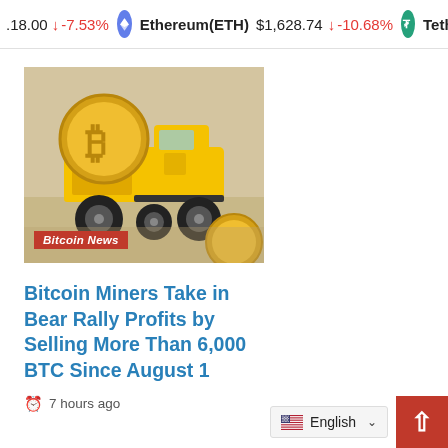18.00 ↓ -7.53%   Ethereum(ETH) $1,628.74 ↓ -10.68%   Tethe
[Figure (photo): A yellow toy mining truck carrying a large gold Bitcoin coin, with additional coins visible in the background on a beige surface.]
Bitcoin News
Bitcoin Miners Take in Bear Rally Profits by Selling More Than 6,000 BTC Since August 1
7 hours ago
English